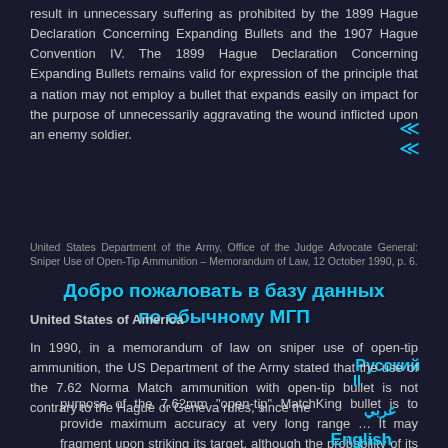result in unnecessary suffering as prohibited by the 1899 Hague Declaration Concerning Expanding Bullets and the 1907 Hague Convention IV. The 1899 Hague Declaration Concerning Expanding Bullets remains valid for expression of the principle that a nation may not employ a bullet that expands easily on impact for the purpose of unnecessarily aggravating the wound inflicted upon an enemy soldier.
United States Department of the Army, Office of the Judge Advocate General: Sniper Use of Open-Tip Ammunition – Memorandum of Law, 12 October 1990, p. 6.
United States of America
In 1990, in a memorandum of law on sniper use of open-tip ammunition, the US Department of the Army stated that the use of the 7.62 Norma Match ammunition with open-tip bullet is not contrary to the Hague or Geneva rules, since the
purpose of the 7.62mm "open-tip" MatchKing bullet is to provide maximum accuracy at very long range … It may fragment upon striking its target, although the probability of its fragmentation is not as great as some military ball bullets currently in use by some nations. Bullet fragmentation is not a design characteristic, however, not a purpose for use of the MatchKing by U.S. Army snipers. Wounds caused by MatchKing ammunition are similar to those caused by a fully jacketed